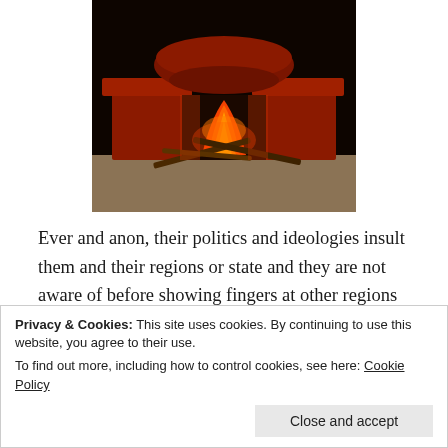[Figure (photo): A red clay or metal cooking stove with an open wood fire burning beneath a dark pot. Flames are visible in the center. The stove sits on a sandy or earthen floor with wooden sticks used as fuel.]
Ever and anon, their politics and ideologies insult them and their regions or state and they are not aware of before showing fingers at other regions or states. In this concern, their colleagues or family members living
Privacy & Cookies: This site uses cookies. By continuing to use this website, you agree to their use.
To find out more, including how to control cookies, see here: Cookie Policy
[Close and accept]
present scenario. A historian Ramchandra Guha did on